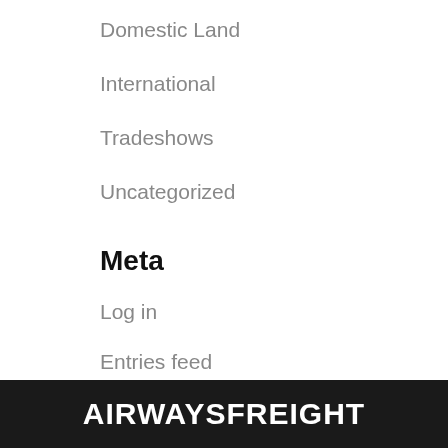Domestic Land
International
Tradeshows
Uncategorized
Meta
Log in
Entries feed
Comments feed
WordPress.org
AIRWAYSFREIGHT